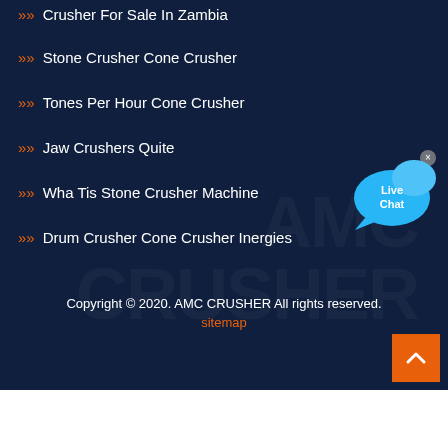Crusher For Sale In Zambia
Stone Crusher Cone Crusher
Tones Per Hour Cone Crusher
Jaw Crushers Quite
Wha Tis Stone Crusher Machine
Drum Crusher Cone Crusher Inergies
Copyright © 2020. AMC CRUSHER All rights reserved.
sitemap